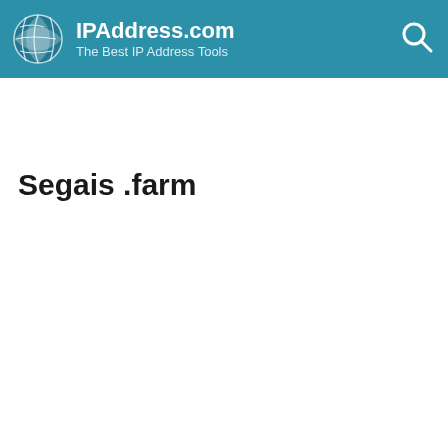IPAddress.com - The Best IP Address Tools
Segais .farm